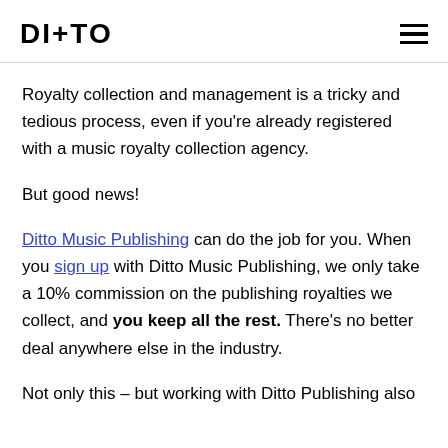DITTO
Royalty collection and management is a tricky and tedious process, even if you're already registered with a music royalty collection agency.
But good news!
Ditto Music Publishing can do the job for you. When you sign up with Ditto Music Publishing, we only take a 10% commission on the publishing royalties we collect, and you keep all the rest. There's no better deal anywhere else in the industry.
Not only this – but working with Ditto Publishing also